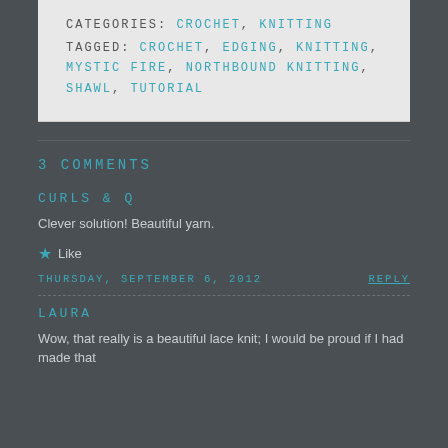CATEGORIES: CROCHET, KNITTING
TAGGED: CROCHET, EDGING, KNITTING, MYSTIC FIRE, NORTHBOUND KNITTING, SHAWL, TUTORIAL
3 COMMENTS
CURLS & Q
Clever solution! Beautiful yarn.
Like
THURSDAY, SEPTEMBER 6, 2012
REPLY
LAURA
Wow, that really is a beautiful lace knit; I would be proud if I had made that